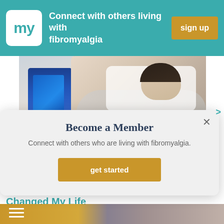my | Connect with others living with fibromyalgia | sign up
[Figure (photo): A woman lying in a hospital bed, resting with a blanket, next to IV medical equipment]
Become a Member
Connect with others who are living with fibromyalgia.
get started
Member Spotlight: How Fibromyalgia Has Changed My Life
[Figure (photo): Thumbnail images for article about fibromyalgia member spotlight]